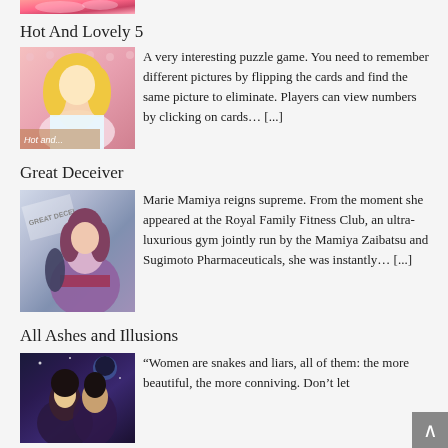[Figure (illustration): Partial cropped anime-style illustration at top of page]
Hot And Lovely 5
[Figure (illustration): Anime-style illustration of a blonde female character for Hot And Lovely 5]
A very interesting puzzle game. You need to remember different pictures by flipping the cards and find the same picture to eliminate. Players can view numbers by clicking on cards… [...]
Great Deceiver
[Figure (illustration): Anime-style illustration of Marie Mamiya character for Great Deceiver]
Marie Mamiya reigns supreme. From the moment she appeared at the Royal Family Fitness Club, an ultra-luxurious gym jointly run by the Mamiya Zaibatsu and Sugimoto Pharmaceuticals, she was instantly… [...]
All Ashes and Illusions
[Figure (illustration): Dark fantasy anime-style illustration for All Ashes and Illusions]
“Women are snakes and liars, all of them: the more beautiful, the more conniving. Don’t let